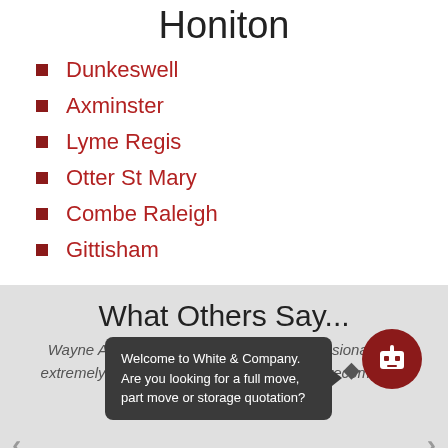Honiton
Dunkeswell
Axminster
Lyme Regis
Otter St Mary
Combe Raleigh
Gittisham
What Others Say...
Welcome to White & Company. Are you looking for a full move, part move or storage quotation?
Wayne Ashton and Brian Witherford professional and extremely helpful. Did a brilliant job. Would recommend Whites to anyone. Thanks very